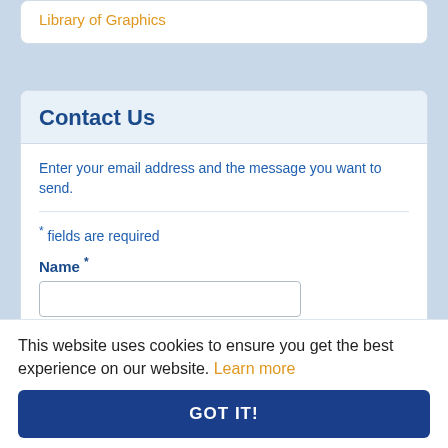Library of Graphics
Contact Us
Enter your email address and the message you want to send.
* fields are required
Name *
Email *
This website uses cookies to ensure you get the best experience on our website. Learn more
GOT IT!